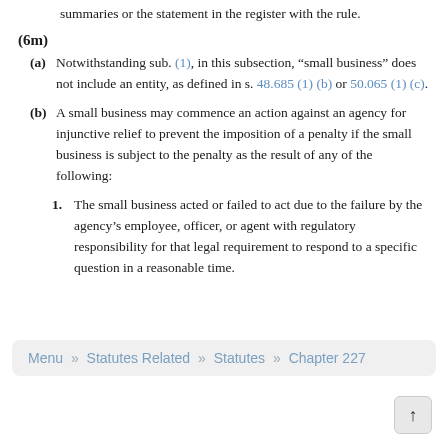summaries or the statement in the register with the rule.
(6m)
(a) Notwithstanding sub. (1), in this subsection, “small business” does not include an entity, as defined in s. 48.685 (1) (b) or 50.065 (1) (c).
(b) A small business may commence an action against an agency for injunctive relief to prevent the imposition of a penalty if the small business is subject to the penalty as the result of any of the following:
1. The small business acted or failed to act due to the failure by the agency’s employee, officer, or agent with regulatory responsibility for that legal requirement to respond to a specific question in a reasonable time.
Menu » Statutes Related » Statutes » Chapter 227